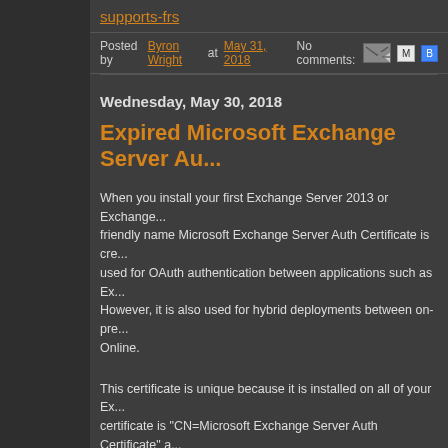supports-frs
Posted by Byron Wright at May 31, 2018   No comments:
Wednesday, May 30, 2018
Expired Microsoft Exchange Server Au...
When you install your first Exchange Server 2013 or Exchange... friendly name Microsoft Exchange Server Auth Certificate is cre... used for OAuth authentication between applications such as Ex... However, it is also used for hybrid deployments between on-pre... Online.
This certificate is unique because it is installed on all of your Ex... certificate is "CN=Microsoft Exchange Server Auth Certificate" a... with references to specific servers.
It also has a 5-year lifetime. Which is just long enough for every... certificate is due to expire in many organizations soon.
Today I got a call from an organization with the following sym...